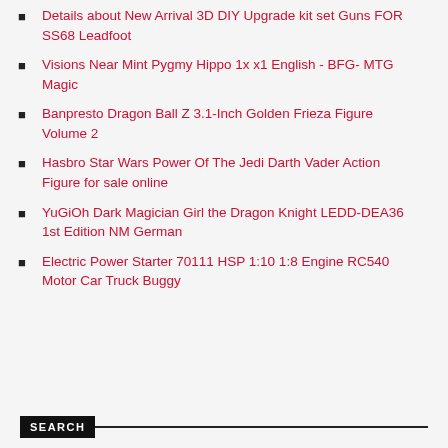Details about  New Arrival 3D DIY Upgrade kit set Guns FOR SS68 Leadfoot
Visions Near Mint Pygmy Hippo 1x x1 English - BFG- MTG Magic
Banpresto Dragon Ball Z 3.1-Inch Golden Frieza Figure Volume 2
Hasbro Star Wars Power Of The Jedi Darth Vader Action Figure for sale online
YuGiOh Dark Magician Girl the Dragon Knight LEDD-DEA36 1st Edition NM German
Electric Power Starter 70111 HSP 1:10 1:8 Engine RC540 Motor Car Truck Buggy
SEARCH